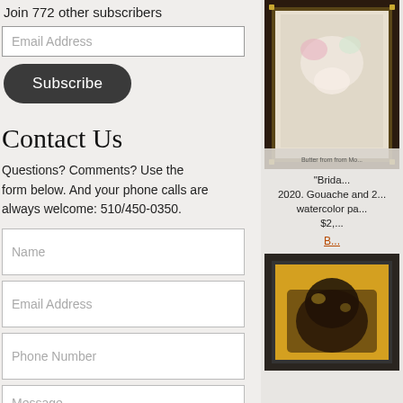Join 772 other subscribers
Email Address
Subscribe
Contact Us
Questions? Comments? Use the form below. And your phone calls are always welcome: 510/450-0350.
Name
Email Address
Phone Number
Message
[Figure (photo): Framed artwork - Bridal themed painting, Gouache and watercolor on paper]
"Brida... 2020. Gouache and 2... watercolor pa... $2,...
B...
[Figure (photo): Framed artwork on yellow/gold background with dark subject matter]